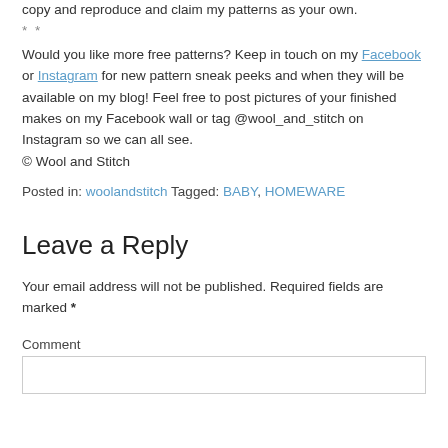copy and reproduce and claim my patterns as your own.
**
Would you like more free patterns? Keep in touch on my Facebook or Instagram for new pattern sneak peeks and when they will be available on my blog! Feel free to post pictures of your finished makes on my Facebook wall or tag @wool_and_stitch on Instagram so we can all see.
© Wool and Stitch
Posted in: woolandstitch Tagged: BABY, HOMEWARE
Leave a Reply
Your email address will not be published. Required fields are marked *
Comment